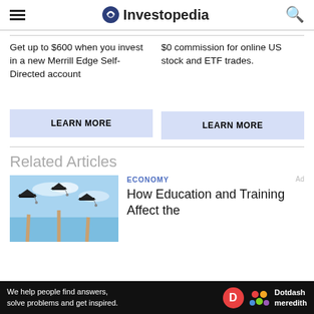Investopedia
Get up to $600 when you invest in a new Merrill Edge Self-Directed account
$0 commission for online US stock and ETF trades.
LEARN MORE
LEARN MORE
Related Articles
ECONOMY
How Education and Training Affect the
[Figure (photo): Graduates throwing mortarboard caps in the air against a blue sky]
We help people find answers, solve problems and get inspired. Dotdash meredith